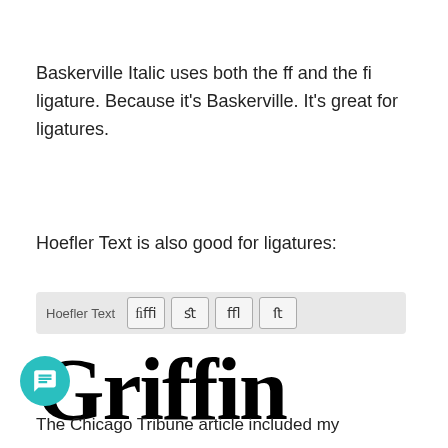Baskerville Italic uses both the ff and the fi ligature. Because it’s Baskerville. It’s great for ligatures.
Hoefler Text is also good for ligatures:
[Figure (screenshot): A UI bar showing Hoefler Text font name and ligature character buttons: ffi, ct, fl, fs]
[Figure (illustration): Large serif word 'Griffin' displayed in bold Hoefler Text font with ligatures]
The Chicago Tribune article included my